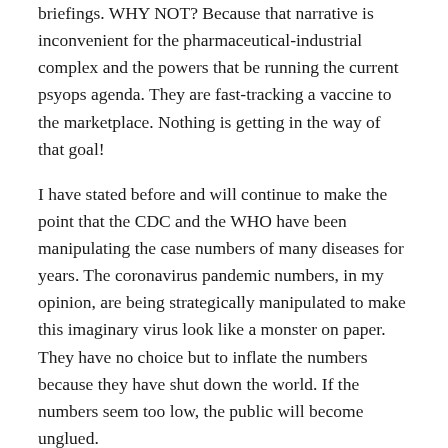briefings. WHY NOT? Because that narrative is inconvenient for the pharmaceutical-industrial complex and the powers that be running the current psyops agenda. They are fast-tracking a vaccine to the marketplace. Nothing is getting in the way of that goal!
I have stated before and will continue to make the point that the CDC and the WHO have been manipulating the case numbers of many diseases for years. The coronavirus pandemic numbers, in my opinion, are being strategically manipulated to make this imaginary virus look like a monster on paper. They have no choice but to inflate the numbers because they have shut down the world. If the numbers seem too low, the public will become unglued.
I understand that my claims appear to the average person like the raving of someone misguided, but th...